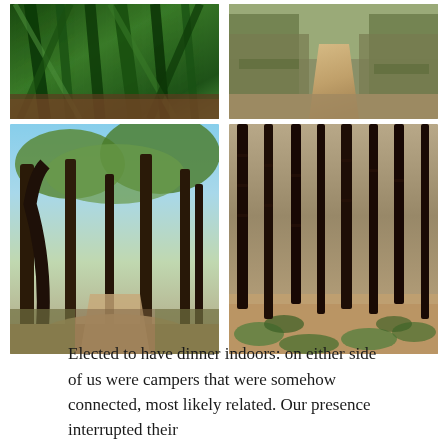[Figure (photo): Close-up photograph of tall green reeds or tropical plant leaves with dark brown soil visible at the bottom]
[Figure (photo): Dirt trail path winding through dry brown shrubs and grasses in a natural area]
[Figure (photo): Dirt road or path through a sparse oak woodland with twisted trees draped in Spanish moss, blue sky visible through canopy]
[Figure (photo): Pine forest with tall straight dark tree trunks and green ground cover plants on reddish-brown pine needle covered forest floor]
Elected to have dinner indoors: on either side of us were campers that were somehow connected, most likely related. Our presence interrupted their